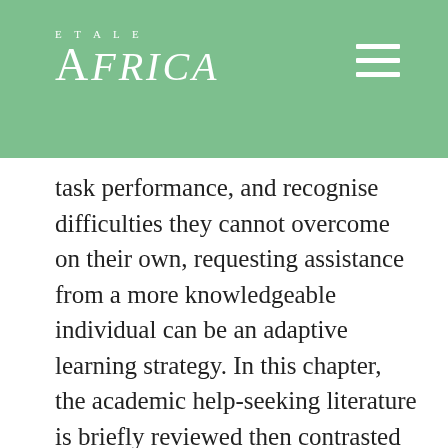eTALE AFRICA
task performance, and recognise difficulties they cannot overcome on their own, requesting assistance from a more knowledgeable individual can be an adaptive learning strategy. In this chapter, the academic help-seeking literature is briefly reviewed then contrasted with several types of nonadaptive actions in which students often engage when they encounter academic difficulty. Further, practical concerns of teachers are addressed, particularly on how to support